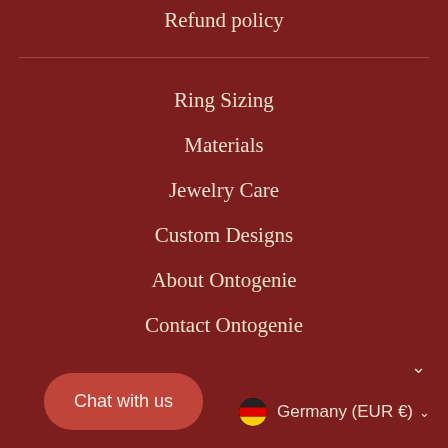Refund policy
Ring Sizing
Materials
Jewelry Care
Custom Designs
About Ontogenie
Contact Ontogenie
Chat with us
Germany (EUR €)